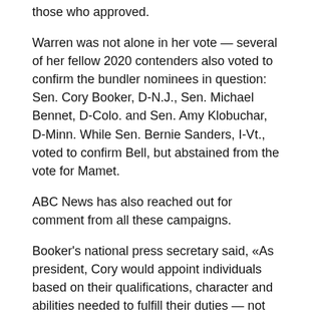those who approved.
Warren was not alone in her vote — several of her fellow 2020 contenders also voted to confirm the bundler nominees in question: Sen. Cory Booker, D-N.J., Sen. Michael Bennet, D-Colo. and Sen. Amy Klobuchar, D-Minn. While Sen. Bernie Sanders, I-Vt., voted to confirm Bell, but abstained from the vote for Mamet.
ABC News has also reached out for comment from all these campaigns.
Booker's national press secretary said, «As president, Cory would appoint individuals based on their qualifications, character and abilities needed to fulfill their duties — not how much money they donate to the campaign.»
Among the Democratic contenders, Warren has been the